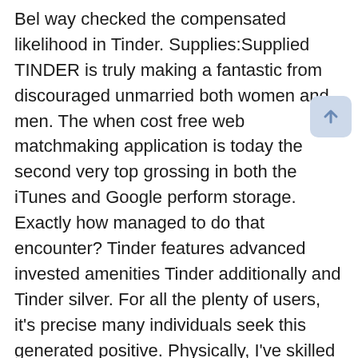Bel way checked the compensated likelihood in Tinder. Supplies:Supplied TINDER is truly making a fantastic from discouraged unmarried both women and men. The when cost free web matchmaking application is today the second very top grossing in both the iTunes and Google perform storage. Exactly how managed to do that encounter? Tinder features advanced invested amenities Tinder additionally and Tinder silver. For all the plenty of users, it's precise many individuals seek this generated positive. Physically, I've skilled a tumultuous dedication with Tinder. I'm anything you hire the web based online game a serial lefter — by the price, there might be 200 swipes leftover each swipe appropriate.